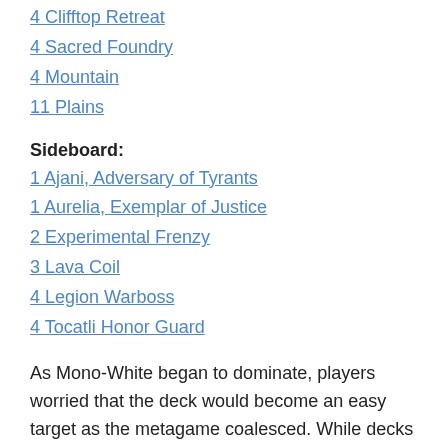4 Clifftop Retreat
4 Sacred Foundry
4 Mountain
11 Plains
Sideboard:
1 Ajani, Adversary of Tyrants
1 Aurelia, Exemplar of Justice
2 Experimental Frenzy
3 Lava Coil
4 Legion Warboss
4 Tocatli Honor Guard
As Mono-White began to dominate, players worried that the deck would become an easy target as the metagame coalesced. While decks that preyed on white performed well at Grand Prix Milwaukee, with two Jeskai decks and four Golgari lists making Top 8, White Aggro still had its champions, with Jake Tilk making his first Grand Prix Top 8 with a Mono-White list.